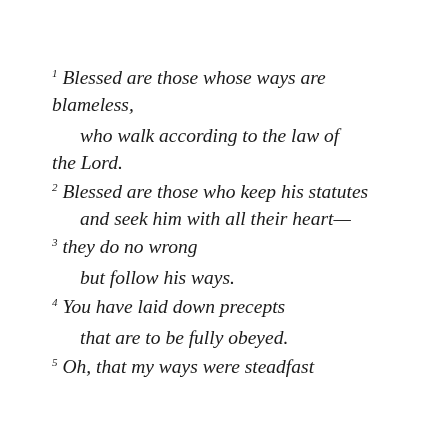1 Blessed are those whose ways are blameless,
who walk according to the law of the Lord.
2 Blessed are those who keep his statutes and seek him with all their heart—
3 they do no wrong
but follow his ways.
4 You have laid down precepts
that are to be fully obeyed.
5 Oh, that my ways were steadfast